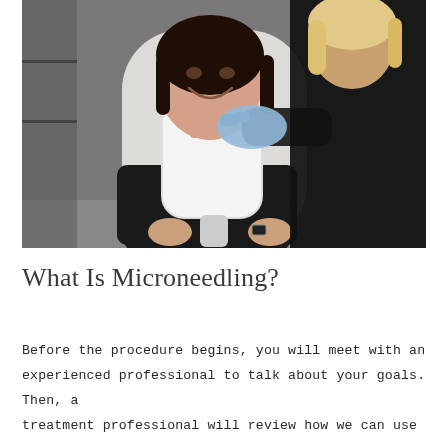[Figure (photo): A smiling woman with dark hair sits in a white treatment chair holding a hand mirror, wearing a black top. A practitioner in a black outfit and blue latex gloves stands behind her, performing a facial treatment in a clinical spa setting.]
What Is Microneedling?
Before the procedure begins, you will meet with an experienced professional to talk about your goals. Then, a treatment professional will review how we can use